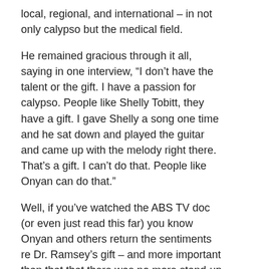local, regional, and international – in not only calypso but the medical field.
He remained gracious through it all, saying in one interview, “I don’t have the talent or the gift. I have a passion for calypso. People like Shelly Tobitt, they have a gift. I gave Shelly a song one time and he sat down and played the guitar and came up with the melody right there. That’s a gift. I can’t do that. People like Onyan can do that.”
Well, if you’ve watched the ABS TV doc (or even just read this far) you know Onyan and others return the sentiments re Dr. Ramsey’s gift – and more important than that that there was no more stand-up guy.
He will be missed, but his contribution lives on.